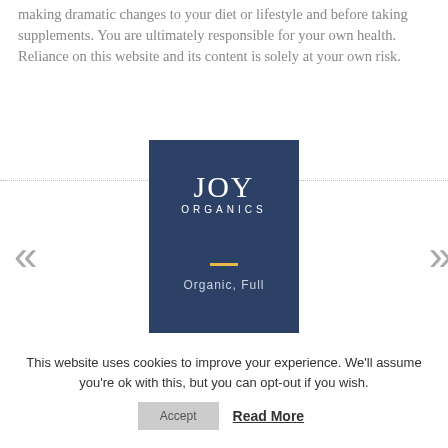making dramatic changes to your diet or lifestyle and before taking supplements. You are ultimately responsible for your own health. Reliance on this website and its content is solely at your own risk.
[Figure (logo): Joy Organics logo card — dark navy blue rectangle with 'JOY' in large serif font, 'ORGANICS' in small caps below, a yellow dash separator, and 'Organic, Full' text at the bottom. Navigation arrows (double chevrons) on left and right sides with dotted horizontal lines.]
This website uses cookies to improve your experience. We'll assume you're ok with this, but you can opt-out if you wish.